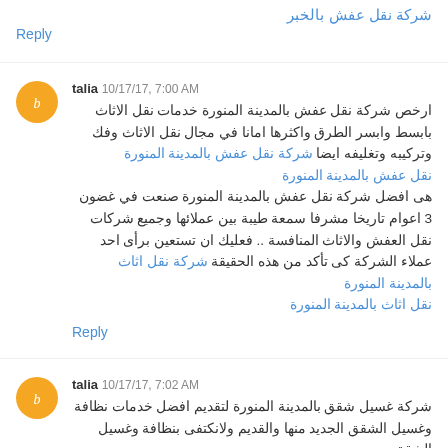شركة نقل عفش بالخبر
Reply
talia 10/17/17, 7:00 AM
ارخص شركة نقل عفش بالمدينة المنورة خدمات نقل الاثاث بابسط وابسر الطرق واكثرها امانا في مجال نقل الاثاث وفك وتركيبه وتغليفه ايضا شركة نقل عفش بالمدينة المنورة نقل عفش بالمدينة المنورة هى افضل شركة نقل عفش بالمدينة المنورة صنعت في غضون 3 اعوام تاريخا مشرفا سمعة طيبة بين عملائها وجميع شركات نقل العفش والاثاث المنافسة .. فعليك ان تستعين برأى احد عملاء الشركة كى تأكد من هذه الحقيقة شركة نقل اثاث بالمدينة المنورة نقل اثاث بالمدينة المنورة
Reply
talia 10/17/17, 7:02 AM
شركة غسيل شقق بالمدينة المنورة لتقديم افضل خدمات نظافة وغسيل الشقق الجديد منها والقديم ولانكتفى بنظافة وغسيل الشقق